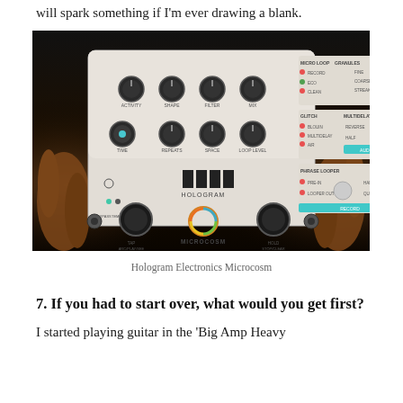will spark something if I'm ever drawing a blank.
[Figure (photo): Hands holding a Hologram Electronics Microcosm guitar effects pedal, white rectangular device with multiple knobs and controls, photographed against dark background]
Hologram Electronics Microcosm
7. If you had to start over, what would you get first?
I started playing guitar in the 'Big Amp Heavy